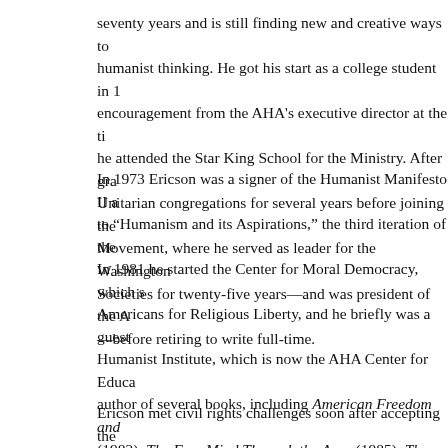seventy years and is still finding new and creative ways to humanist thinking. He got his start as a college student in 1 encouragement from the AHA's executive director at the ti he attended the Star King School for the Ministry. After gra Unitarian congregations for several years before joining the Movement, where he served as leader for the Washington Societies for twenty-five years—and was president of the A —before retiring to write full-time.
In 1973 Ericson was a signer of the Humanist Manifesto II a to "Humanism and its Aspirations," the third iteration of the In 1981 he started the Center for Moral Democracy, which s Americans for Religious Liberty, and he briefly was a guest Humanist Institute, which is now the AHA Center for Educa author of several books, including American Freedom and (1982), The Free Mind Through the Ages (1985), The Huma The American Dream Renewed: The Making of a World Pe
Ericson met civil rights challenges soon after accepting the